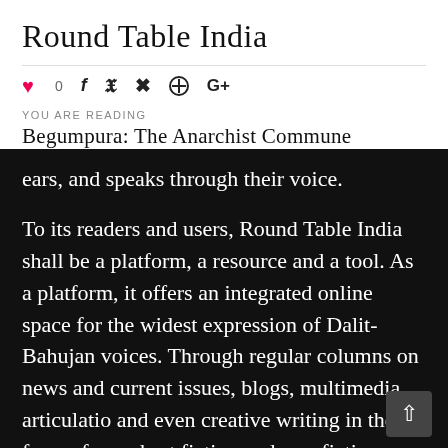Round Table India
[Figure (infographic): Social share bar with heart/like icon (red, count 0), Facebook icon, Twitter icon, Pinterest icon, Google+ icon]
You Are Reading
Begumpura: The Anarchist Commune
ears, and speaks through their voice.
To its readers and users, Round Table India shall be a platform, a resource and a tool. As a platform, it offers an integrated online space for the widest expression of Dalit-Bahujan voices. Through regular columns on news and current issues, blogs, multimedia articulatio and even creative writing in the form of poe short fiction and non-fiction on subjects of